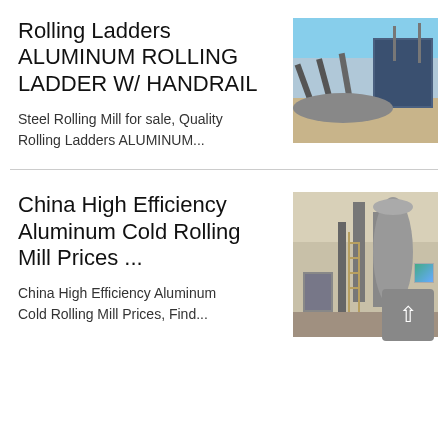Rolling Ladders ALUMINUM ROLLING LADDER W/ HANDRAIL
[Figure (photo): Industrial rolling mill equipment outdoors with conveyor and blue building]
Steel Rolling Mill for sale, Quality Rolling Ladders ALUMINUM...
China High Efficiency Aluminum Cold Rolling Mill Prices ...
[Figure (photo): Industrial chemical or processing plant with towers and scaffolding]
China High Efficiency Aluminum Cold Rolling Mill Prices, Find...